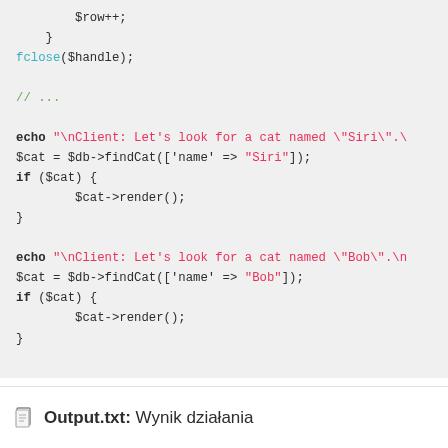PHP code block showing fclose, findCat for Siri and Bob with render calls
Output.txt: Wynik działania